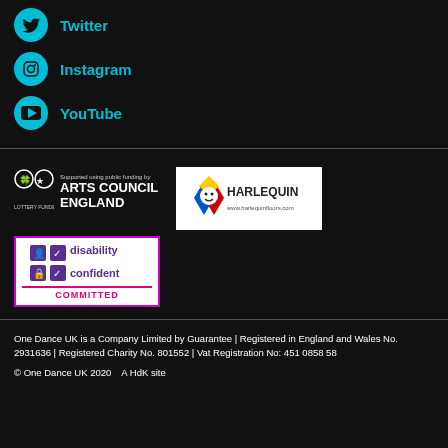Twitter
Instagram
YouTube
[Figure (logo): Arts Council England lottery funded logo with text: Supported using public funding by ARTS COUNCIL ENGLAND]
[Figure (logo): Harlequin floors logo: www.harlequinfloors.com]
[Figure (logo): Disability Confident Committed badge]
One Dance UK is a Company Limited by Guarantee | Registered in England and Wales No. 2931636 | Registered Charity No. 801552 | Vat Registration No: 451 0858 58
© One Dance UK 2020    A HdK site